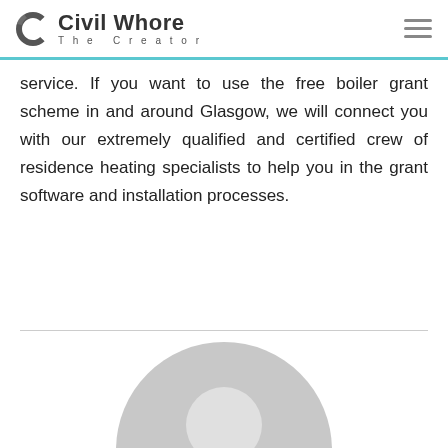Civil Whore The Creator
service. If you want to use the free boiler grant scheme in and around Glasgow, we will connect you with our extremely qualified and certified crew of residence heating specialists to help you in the grant software and installation processes.
[Figure (illustration): Generic user avatar placeholder - circular grey silhouette of a person]